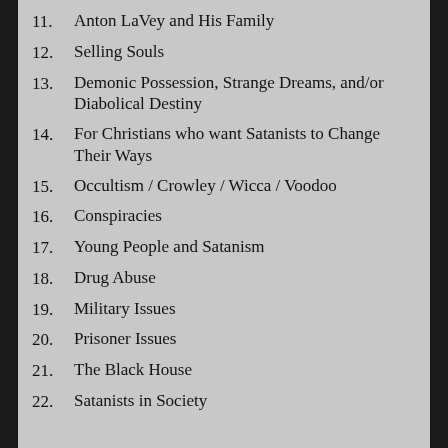11. Anton LaVey and His Family
12. Selling Souls
13. Demonic Possession, Strange Dreams, and/or Diabolical Destiny
14. For Christians who want Satanists to Change Their Ways
15. Occultism / Crowley / Wicca / Voodoo
16. Conspiracies
17. Young People and Satanism
18. Drug Abuse
19. Military Issues
20. Prisoner Issues
21. The Black House
22. Satanists in Society